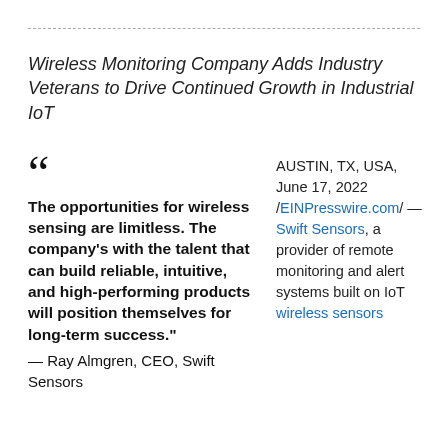Wireless Monitoring Company Adds Industry Veterans to Drive Continued Growth in Industrial IoT
"The opportunities for wireless sensing are limitless. The company's with the talent that can build reliable, intuitive, and high-performing products will position themselves for long-term success." — Ray Almgren, CEO, Swift Sensors
AUSTIN, TX, USA, June 17, 2022 /EINPresswire.com/ — Swift Sensors, a provider of remote monitoring and alert systems built on IoT wireless sensors